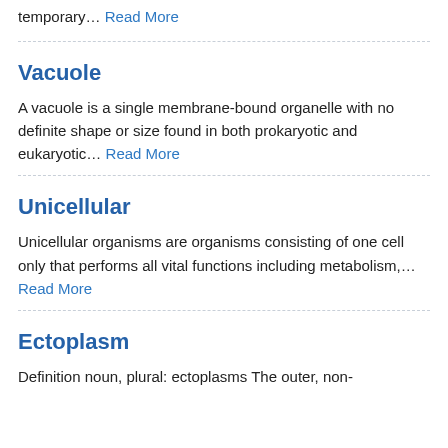temporary… Read More
Vacuole
A vacuole is a single membrane-bound organelle with no definite shape or size found in both prokaryotic and eukaryotic… Read More
Unicellular
Unicellular organisms are organisms consisting of one cell only that performs all vital functions including metabolism,… Read More
Ectoplasm
Definition noun, plural: ectoplasms The outer, non-